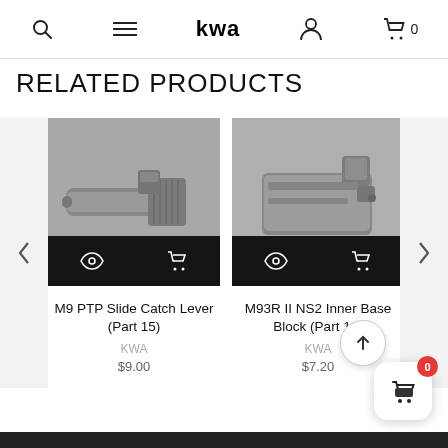KWA navigation header with search, menu, logo, account, and cart icons
RELATED PRODUCTS
[Figure (photo): M9 PTP Slide Catch Lever (Part 15) - gray metal part photograph with eye and cart icons overlay]
M9 PTP Slide Catch Lever (Part 15)
KWA
$9.00
[Figure (photo): M93R II NS2 Inner Base Block (Part 11) - gray metal part photograph with eye and cart icons overlay]
M93R II NS2 Inner Base Block (Part 11)
KWA
$7.20